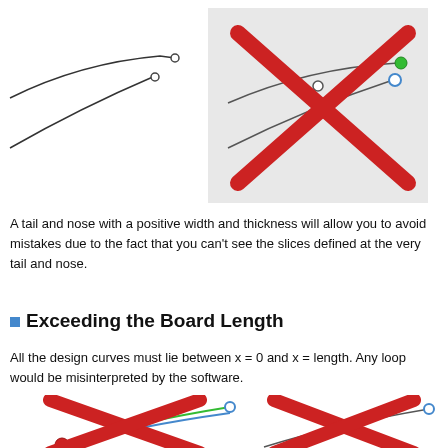[Figure (illustration): Two curved lines (tail/nose profile) tapering to points with small open circles at the ends, on white background]
[Figure (illustration): Two curved lines with a large red X overlaid on a light grey background, with a green filled circle and an open blue circle at the right ends, indicating an incorrect configuration]
A tail and nose with a positive width and thickness will allow you to avoid mistakes due to the fact that you can't see the slices defined at the very tail and nose.
Exceeding the Board Length
All the design curves must lie between x = 0 and x = length. Any loop would be misinterpreted by the software.
[Figure (illustration): Curves with a red X mark, a red filled circle at the left end and an open blue circle at the right end, with green and blue lines, indicating incorrect board length exceedance]
[Figure (illustration): Curves with a red X mark and an open blue circle at the right end, indicating incorrect board length exceedance]